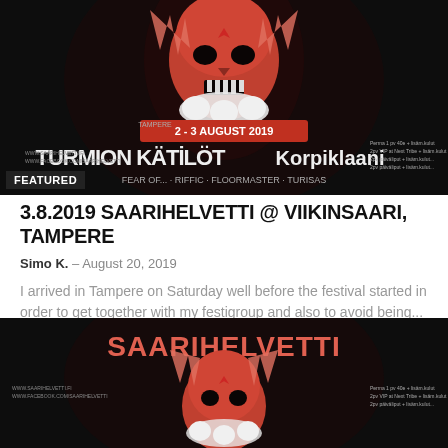[Figure (photo): Dark metal festival poster for Saarihelvetti 2019 at Viikinsaari, Tampere, 2-3 August 2019, featuring a demonic skull with Turmion Kätilöt and Korpiklaani band names. Featured badge overlay at bottom left.]
3.8.2019 SAARIHELVETTI @ VIIKINSAARI, TAMPERE
Simo K.  –  August 20, 2019
I arrived in Tampere on Saturday well before the festival started in order to get together with my festigroup and also to avoid being...
[Figure (photo): Dark metal festival poster for Saarihelvetti, same design as above, showing partial view with demon skull and festival branding.]